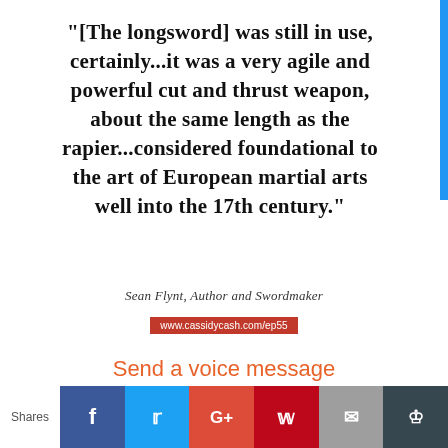"[The longsword] was still in use, certainly...it was a very agile and powerful cut and thrust weapon, about the same length as the rapier...considered foundational to the art of European martial arts well into the 17th century."
Sean Flynt, Author and Swordmaker
www.cassidycash.com/ep55
Send a voice message to Cassidy Cash